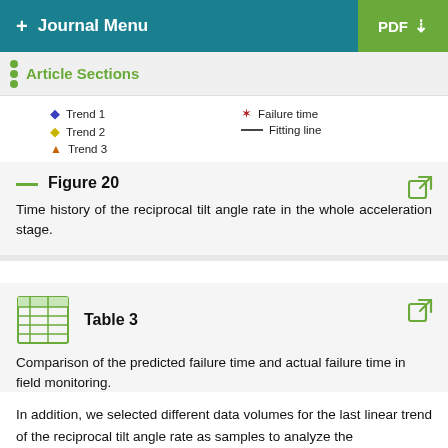+ Journal Menu | PDF
Article Sections
Legend: Trend 1, Trend 2, Trend 3, Failure time, Fitting line
Figure 20 — Time history of the reciprocal tilt angle rate in the whole acceleration stage.
Table 3 — Comparison of the predicted failure time and actual failure time in field monitoring.
In addition, we selected different data volumes for the last linear trend of the reciprocal tilt angle rate as samples to analyze the